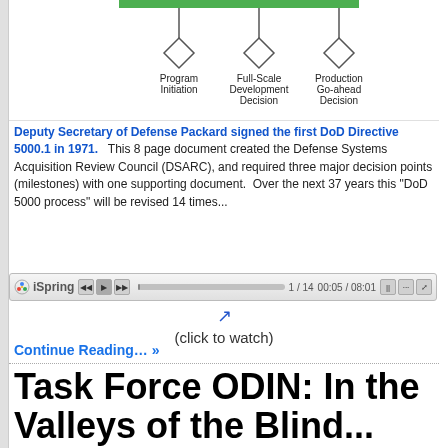[Figure (flowchart): Partial flowchart showing milestone decision points: Program Initiation, Full-Scale Development Decision, Production Go-ahead Decision]
Deputy Secretary of Defense Packard signed the first DoD Directive 5000.1 in 1971. This 8 page document created the Defense Systems Acquisition Review Council (DSARC), and required three major decision points (milestones) with one supporting document. Over the next 37 years this "DoD 5000 process" will be revised 14 times...
[Figure (screenshot): iSpring media player bar showing slide 1/14 and timestamp 00:05/08:01]
(click to watch)
Continue Reading… »
Task Force ODIN: In the Valleys of the Blind...
Jan 15, 2009 18:09 UTC
In 2009, the Ottawa Citizen's defense reporter David Pugliese reported that the US military was about to